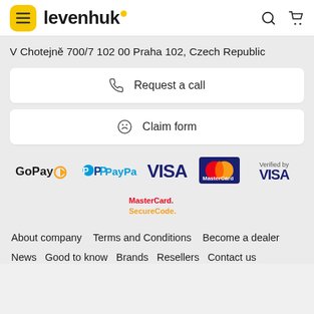levenhuk
V Chotejně 700/7 102 00 Praha 102, Czech Republic
Request a call
Claim form
[Figure (logo): Payment logos: GoPay, PayPal, VISA, MasterCard, Verified by VISA, MasterCard SecureCode]
About company
Terms and Conditions
Become a dealer
News
Good to know
Brands
Resellers
Contact us